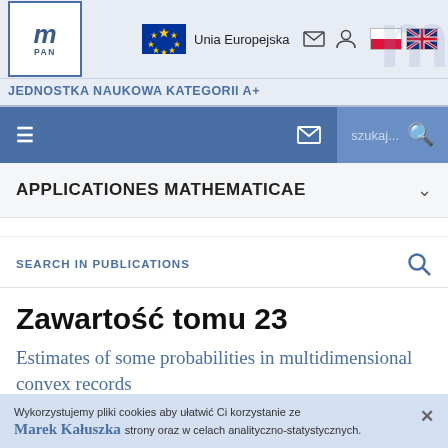JEDNOSTKA NAUKOWA KATEGORII A+
APPLICATIONES MATHEMATICAE
SEARCH IN PUBLICATIONS
Zawartość tomu 23
Estimates of some probabilities in multidimensional convex records
Marek Kałuszka
Wykorzystujemy pliki cookies aby ułatwić Ci korzystanie ze strony oraz w celach analityczno-statystycznych.